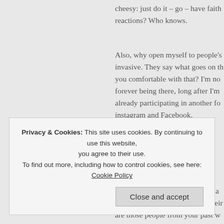cheesy: just do it – go – have faith reactions? Who knows.
Also, why open myself to people's invasive. They say what goes on th you comfortable with that? I'm no forever being there, long after I'm already participating in another fo instagram and Facebook.
Le sigh...
What's to lose though? If you're a well, and you can see yourself beir are those people from your past w
Privacy & Cookies: This site uses cookies. By continuing to use this website, you agree to their use.
To find out more, including how to control cookies, see here: Cookie Policy
Close and accept